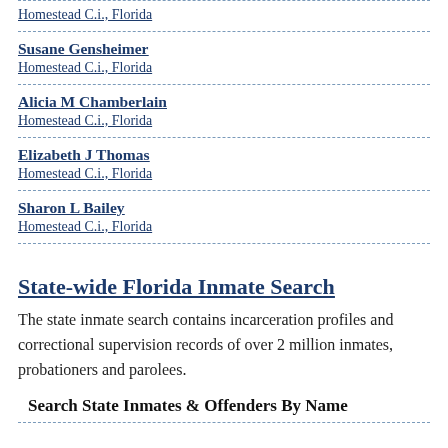Homestead C.i., Florida
Susane Gensheimer
Homestead C.i., Florida
Alicia M Chamberlain
Homestead C.i., Florida
Elizabeth J Thomas
Homestead C.i., Florida
Sharon L Bailey
Homestead C.i., Florida
State-wide Florida Inmate Search
The state inmate search contains incarceration profiles and correctional supervision records of over 2 million inmates, probationers and parolees.
Search State Inmates & Offenders By Name